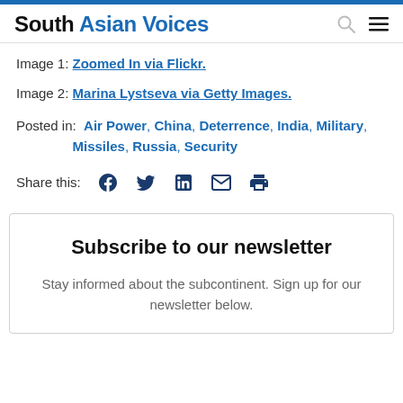South Asian Voices
Image 1: Zoomed In via Flickr.
Image 2: Marina Lystseva via Getty Images.
Posted in: Air Power, China, Deterrence, India, Military, Missiles, Russia, Security
Share this: [Facebook] [Twitter] [LinkedIn] [Email] [Print]
Subscribe to our newsletter
Stay informed about the subcontinent. Sign up for our newsletter below.